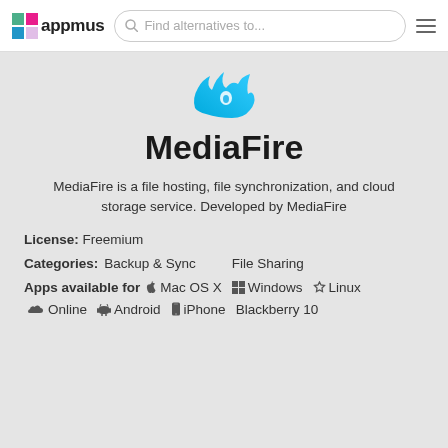appmus — Find alternatives to...
[Figure (logo): MediaFire flame logo in blue gradient]
MediaFire
MediaFire is a file hosting, file synchronization, and cloud storage service. Developed by MediaFire
License: Freemium
Categories: Backup & Sync   File Sharing
Apps available for  Mac OS X  Windows  Linux  Online  Android  iPhone  Blackberry 10